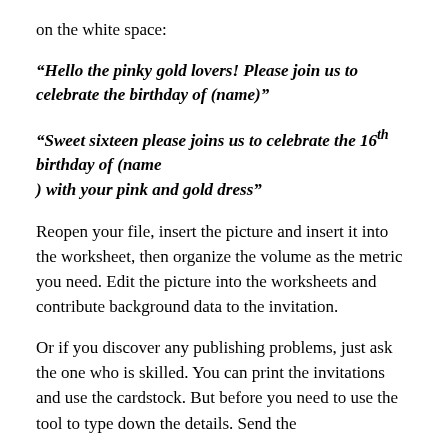on the white space:
“Hello the pinky gold lovers! Please join us to celebrate the birthday of (name)”
“Sweet sixteen please joins us to celebrate the 16th birthday of (name ) with your pink and gold dress”
Reopen your file, insert the picture and insert it into the worksheet, then organize the volume as the metric you need. Edit the picture into the worksheets and contribute background data to the invitation.
Or if you discover any publishing problems, just ask the one who is skilled. You can print the invitations and use the cardstock. But before you need to use the tool to type down the details. Send the